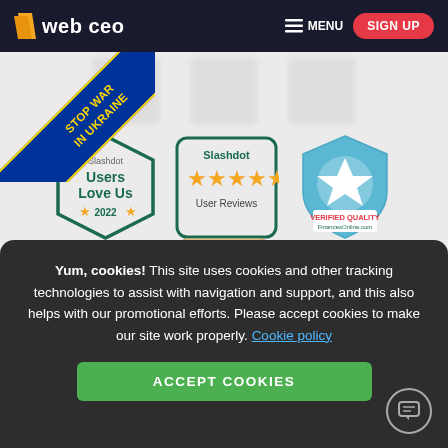web ceo  MENU  SIGN UP
[Figure (logo): WebCEO logo with yellow slash and white text on dark navy background]
[Figure (infographic): Stop War in Ukraine diagonal banner in blue and yellow]
[Figure (illustration): Award badges: Slashdot Users Love Us 2022 (hexagon), Slashdot User Reviews 5 stars, Verified Quality FinancesOnline.com (shield), and partial Software Suggest Trending badge]
Yum, cookies! This site uses cookies and other tracking technologies to assist with navigation and support, and this also helps with our promotional efforts. Please accept cookies to make our site work properly. Cookie policy
ACCEPT COOKIES